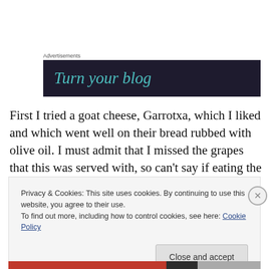Advertisements
[Figure (screenshot): Dark advertisement banner with teal italic text reading 'Turn your blog']
First I tried a goat cheese, Garrotxa, which I liked and which went well on their bread rubbed with olive oil. I must admit that I missed the grapes that this was served with, so can't say if eating the two together would have made a
Privacy & Cookies: This site uses cookies. By continuing to use this website, you agree to their use.
To find out more, including how to control cookies, see here: Cookie Policy